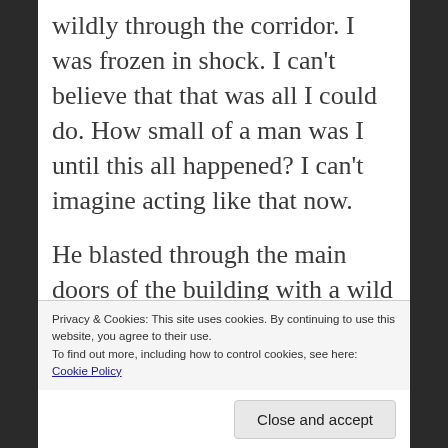wildly through the corridor. I was frozen in shock. I can't believe that that was all I could do. How small of a man was I until this all happened? I can't imagine acting like that now.
He blasted through the main doors of the building with a wild and confused look in his eyes. Hair everywhere and whatever wasn't covered by hair was covered by
Privacy & Cookies: This site uses cookies. By continuing to use this website, you agree to their use.
To find out more, including how to control cookies, see here: Cookie Policy
Close and accept
but his grip was too much. His eyes seemed